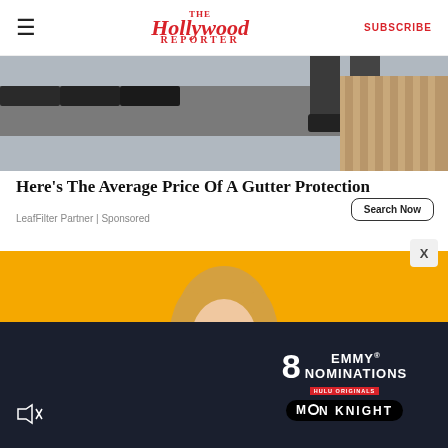The Hollywood Reporter | SUBSCRIBE
[Figure (photo): Photo of a worker installing gutter protection on a rooftop]
Here's The Average Price Of A Gutter Protection
LeafFilter Partner | Sponsored
Search Now
[Figure (photo): Advertisement showing a smiling/excited blonde woman on a yellow background]
[Figure (screenshot): Video player overlay on dark background with mute icon]
[Figure (infographic): Disney+ / Hulu advertisement: 8 EMMY NOMINATIONS - MOON KNIGHT]